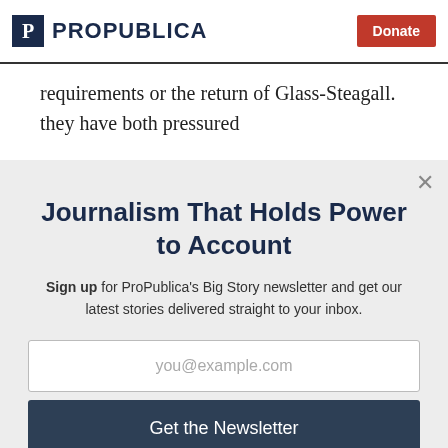ProPublica | Donate
requirements or the return of Glass-Steagall. they have both pressured
Journalism That Holds Power to Account
Sign up for ProPublica's Big Story newsletter and get our latest stories delivered straight to your inbox.
you@example.com
Get the Newsletter
No thanks, I'm all set
This site is protected by reCAPTCHA and the Google Privacy Policy and Terms of Service apply.